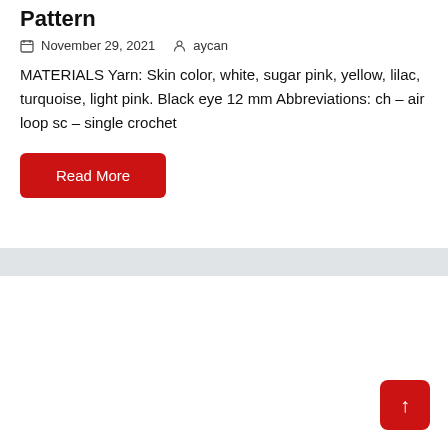Pattern
November 29, 2021   aycan
MATERIALS Yarn: Skin color, white, sugar pink, yellow, lilac, turquoise, light pink. Black eye 12 mm Abbreviations: ch – air loop sc – single crochet
Read More